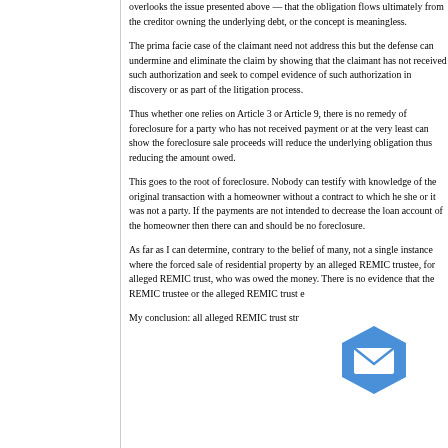overlooks the issue presented above — that the obligation flows ultimately from the creditor owning the underlying debt, or the concept is meaningless.
The prima facie case of the claimant need not address this but the defense can undermine and eliminate the claim by showing that the claimant has not received such authorization and seek to compel evidence of such authorization in discovery or as part of the litigation process.
Thus whether one relies on Article 3 or Article 9, there is no remedy of foreclosure for a party who has not received payment or at the very least can show the foreclosure sale proceeds will reduce the underlying obligation thus reducing the amount owed.
This goes to the root of foreclosure. Nobody can testify with knowledge of the original transaction with a homeowner without a contract to which he she or it was not a party. If the payments are not intended to decrease the loan account of the homeowner then there can and should be no foreclosure.
As far as I can determine, contrary to the belief of many, not a single instance where the forced sale of residential property by an alleged REMIC trustee, for alleged REMIC trust, who was owed the money. There is no evidence that the REMIC trustee or the alleged REMIC trust e
My conclusion: all alleged REMIC trust str